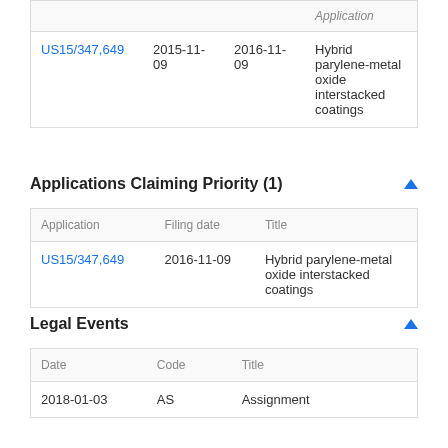| Application | Filing date | Publication date | Title |
| --- | --- | --- | --- |
| US15/347,649 | 2015-11-09 | 2016-11-09 | Hybrid parylene-metal oxide interstacked coatings |
Applications Claiming Priority (1)
| Application | Filing date | Title |
| --- | --- | --- |
| US15/347,649 | 2016-11-09 | Hybrid parylene-metal oxide interstacked coatings |
Legal Events
| Date | Code | Title |
| --- | --- | --- |
| 2018-01-03 | AS | Assignment |